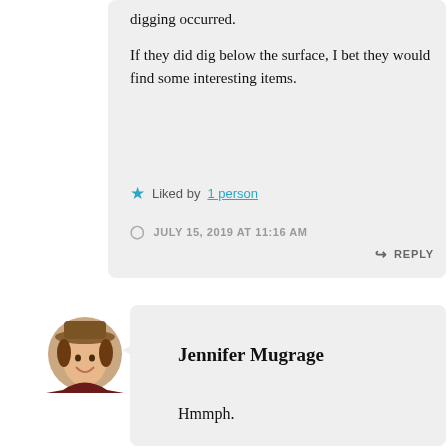digging occurred.
If they did dig below the surface, I bet they would find some interesting items.
Liked by 1 person
JULY 15, 2019 AT 11:16 AM
REPLY
[Figure (photo): Circular avatar photo of Jennifer Mugrage, a woman wearing a hat, smiling]
Jennifer Mugrage
Hmmph.